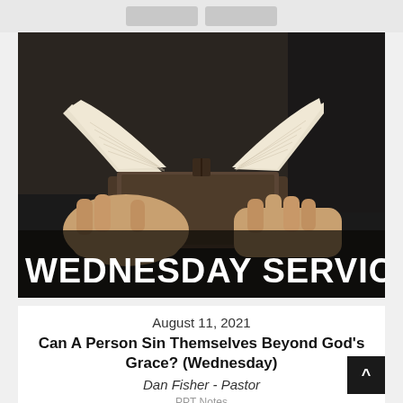[Figure (photo): Hands holding an open Bible/book with pages spread, dark moody background, with text overlay 'WEDNESDAY SERVICES' in large white bold uppercase letters at the bottom of the image.]
August 11, 2021
Can A Person Sin Themselves Beyond God's Grace? (Wednesday)
Dan Fisher - Pastor
PPT Notes